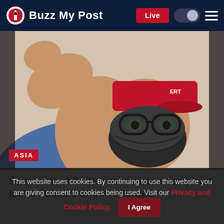Buzz My Post — Live
[Figure (photo): Person wearing a dark face mask, red cap with ERT text, glasses, with hand raised near head. ASIA badge overlay in bottom left.]
Statement of Twitter user whose complaint led to Zubair's arrest recorded
This website uses cookies. By continuing to use this website you are giving consent to cookies being used. Visit our Privacy and Cookie Policy.